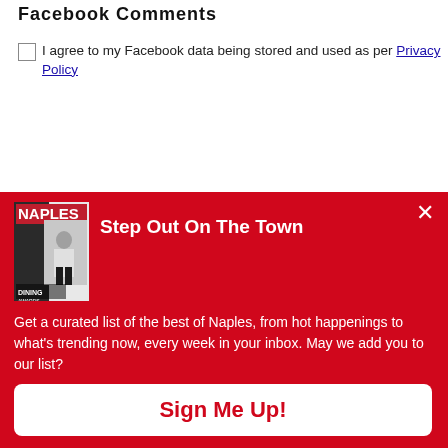Facebook Comments
I agree to my Facebook data being stored and used as per Privacy Policy
[Figure (screenshot): Red newsletter signup modal/banner for Naples magazine with magazine cover image, heading 'Step Out On The Town', descriptive text about curated list, and Sign Me Up button]
Step Out On The Town
Get a curated list of the best of Naples, from hot happenings to what's trending now, every week in your inbox. May we add you to our list?
Sign Me Up!